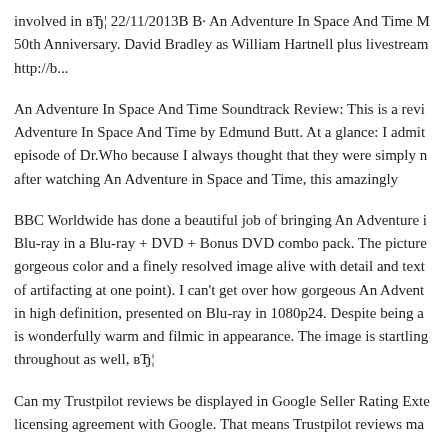involved in вЂ¦ 22/11/2013В В· An Adventure In Space And Time M 50th Anniversary. David Bradley as William Hartnell plus livestream http://b...
An Adventure In Space And Time Soundtrack Review: This is a revi Adventure In Space And Time by Edmund Butt. At a glance: I admit episode of Dr.Who because I always thought that they were simply n after watching An Adventure in Space and Time, this amazingly
BBC Worldwide has done a beautiful job of bringing An Adventure i Blu-ray in a Blu-ray + DVD + Bonus DVD combo pack. The picture gorgeous color and a finely resolved image alive with detail and text of artifacting at one point). I can't get over how gorgeous An Advent in high definition, presented on Blu-ray in 1080p24. Despite being a is wonderfully warm and filmic in appearance. The image is startling throughout as well, вЂ¦
Can my Trustpilot reviews be displayed in Google Seller Rating Exte licensing agreement with Google. That means Trustpilot reviews ma